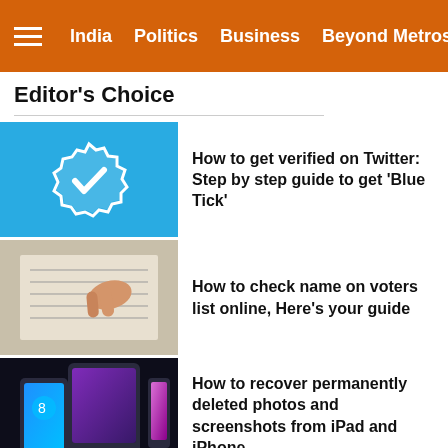India  Politics  Business  Beyond Metros
Editor's Choice
How to get verified on Twitter: Step by step guide to get 'Blue Tick'
How to check name on voters list online, Here's your guide
How to recover permanently deleted photos and screenshots from iPad and iPhone
How to use two WhatsApp accounts on one iPhone at once: Check steps